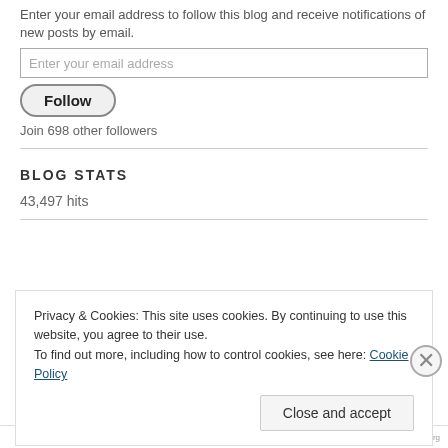Enter your email address to follow this blog and receive notifications of new posts by email.
Enter your email address
Follow
Join 698 other followers
BLOG STATS
43,497 hits
[Figure (logo): ORA AL logo in blue bold text]
Privacy & Cookies: This site uses cookies. By continuing to use this website, you agree to their use.
To find out more, including how to control cookies, see here: Cookie Policy
Close and accept